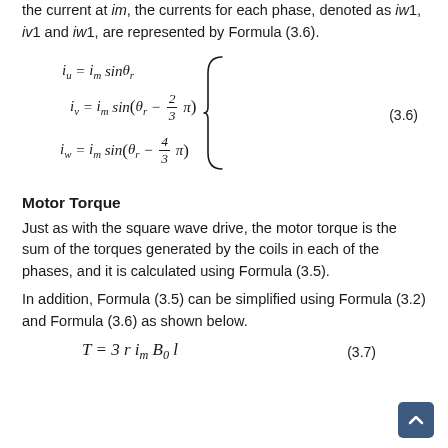the current at im, the currents for each phase, denoted as iw1, iv1 and iw1, are represented by Formula (3.6).
Motor Torque
Just as with the square wave drive, the motor torque is the sum of the torques generated by the coils in each of the phases, and it is calculated using Formula (3.5).
In addition, Formula (3.5) can be simplified using Formula (3.2) and Formula (3.6) as shown below.